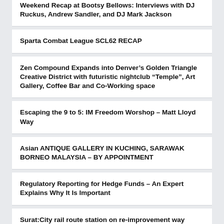Weekend Recap at Bootsy Bellows: Interviews with DJ Ruckus, Andrew Sandler, and DJ Mark Jackson
Sparta Combat League SCL62 RECAP
Zen Compound Expands into Denver's Golden Triangle Creative District with futuristic nightclub “Temple”, Art Gallery, Coffee Bar and Co-Working space
Escaping the 9 to 5: IM Freedom Worshop – Matt Lloyd Way
Asian ANTIQUE GALLERY IN KUCHING, SARAWAK BORNEO MALAYSIA – BY APPOINTMENT
Regulatory Reporting for Hedge Funds – An Expert Explains Why It Is Important
Surat:City rail route station on re-improvement way